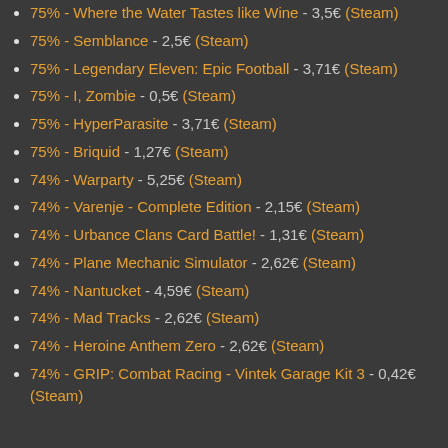75% - Where the Water Tastes like Wine - 3,5€ (Steam)
75% - Semblance - 2,5€ (Steam)
75% - Legendary Eleven: Epic Football - 3,71€ (Steam)
75% - I, Zombie - 0,5€ (Steam)
75% - HyperParasite - 3,71€ (Steam)
75% - Briquid - 1,27€ (Steam)
74% - Warparty - 5,25€ (Steam)
74% - Varenje - Complete Edition - 2,15€ (Steam)
74% - Urbance Clans Card Battle! - 1,31€ (Steam)
74% - Plane Mechanic Simulator - 2,62€ (Steam)
74% - Nantucket - 4,59€ (Steam)
74% - Mad Tracks - 2,62€ (Steam)
74% - Heroine Anthem Zero - 2,62€ (Steam)
74% - GRIP: Combat Racing - Vintek Garage Kit 3 - 0,42€ (Steam)
74% - GRIP: Combat Racing - Vintek Garage Kit ...